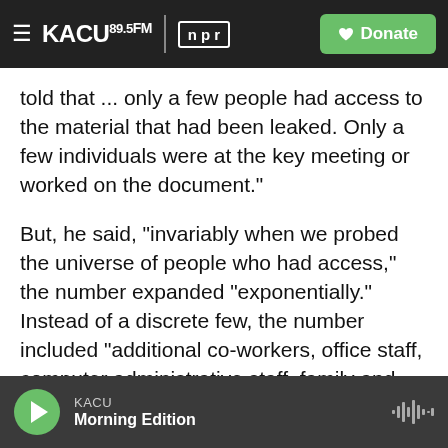KACU 89.5FM | npr | Donate
told that ... only a few people had access to the material that had been leaked. Only a few individuals were at the key meeting or worked on the document."
But, he said, "invariably when we probed the universe of people who had access," the number expanded "exponentially." Instead of a discrete few, the number included "additional co-workers, office staff, computer administrative staff, family and friends of those working on the matter, even people who passed through the office," and in the pandemic era, one might assume, the homes of the
KACU | Morning Edition